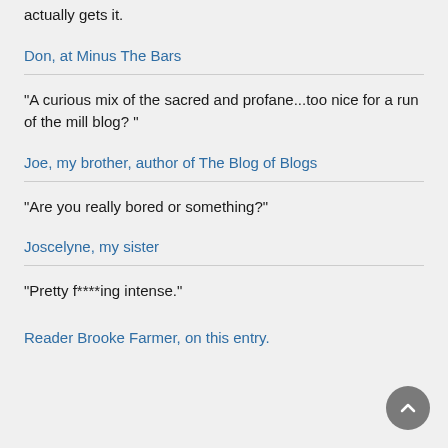actually gets it.
Don, at Minus The Bars
"A curious mix of the sacred and profane...too nice for a run of the mill blog? "
Joe, my brother, author of The Blog of Blogs
"Are you really bored or something?"
Joscelyne, my sister
"Pretty f****ing intense."
Reader Brooke Farmer, on this entry.